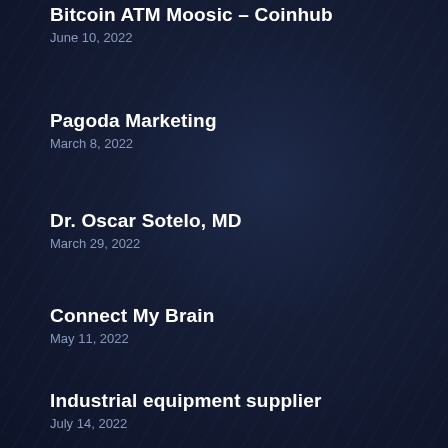Bitcoin ATM Moosic – Coinhub
June 10, 2022
Pagoda Marketing
March 8, 2022
Dr. Oscar Sotelo, MD
March 29, 2022
Connect My Brain
May 11, 2022
Industrial equipment supplier
July 14, 2022